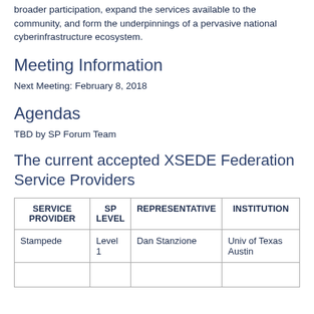broader participation, expand the services available to the community, and form the underpinnings of a pervasive national cyberinfrastructure ecosystem.
Meeting Information
Next Meeting: February 8, 2018
Agendas
TBD by SP Forum Team
The current accepted XSEDE Federation Service Providers
| SERVICE PROVIDER | SP LEVEL | REPRESENTATIVE | INSTITUTION |
| --- | --- | --- | --- |
| Stampede | Level 1 | Dan Stanzione | Univ of Texas Austin |